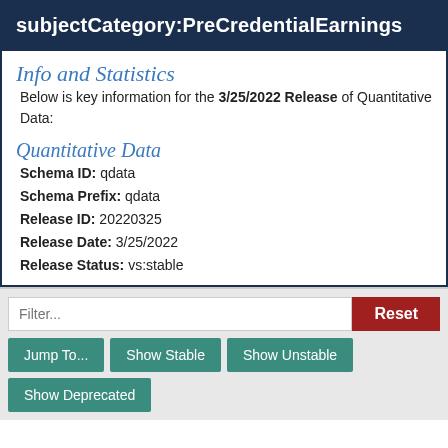subjectCategory:PreCredentialEarnings
Info and Statistics
Below is key information for the 3/25/2022 Release of Quantitative Data:
Quantitative Data
Schema ID: qdata
Schema Prefix: qdata
Release ID: 20220325
Release Date: 3/25/2022
Release Status: vs:stable